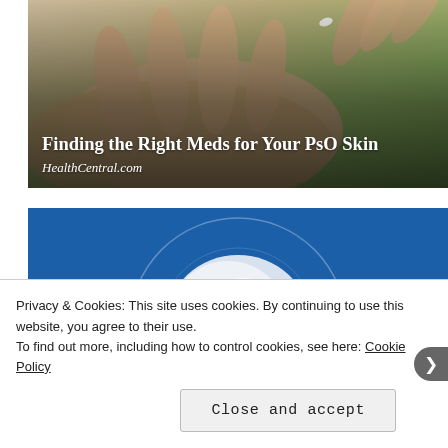[Figure (photo): Close-up photo of hands, one hand open palm-up with green bokeh background, appearing to show medication being placed in a hand. Overlaid with article title and source.]
Finding the Right Meds for Your PsO Skin
HealthCentral.com
[Figure (photo): Blue background with a circular outline graphic and a white cream/ointment dollop in the center, representing topical psoriasis medication.]
Privacy & Cookies: This site uses cookies. By continuing to use this website, you agree to their use.
To find out more, including how to control cookies, see here: Cookie Policy
Close and accept